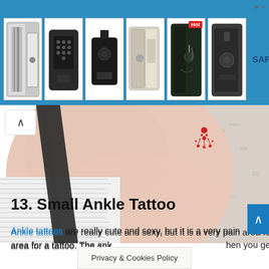[Figure (other): Advertisement banner for safes showing multiple safe product images on a blue background with the SAFES brand logo on the right side. A 'Hot' badge appears on one safe.]
[Figure (photo): Close-up photo of a person's ankle and shoulder area. The person is wearing a white striped top with a dark strap visible. A small red decorative tattoo is visible on the ankle/shoulder area. Background shows a textured wall.]
13. Small Ankle Tattoo
Ankle tattoos are really cute and sexy, but it is a very pain area for a tattoo. The ank hen you get ll tatto